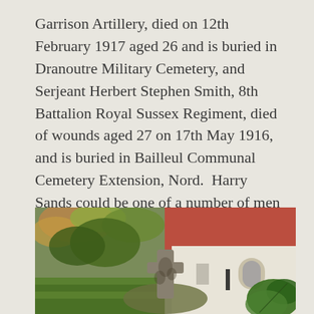Garrison Artillery, died on 12th February 1917 aged 26 and is buried in Dranoutre Military Cemetery, and Serjeant Herbert Stephen Smith, 8th Battalion Royal Sussex Regiment, died of wounds aged 27 on 17th May 1916, and is buried in Bailleul Communal Cemetery Extension, Nord.  Harry Sands could be one of a number of men of that name on the CWGC database, so I shall leave him for someone else to look into.
[Figure (photo): Outdoor photograph of an old stone grave marker or cross in a churchyard or cemetery, with green grass, trees with autumn foliage, and a white church building with a red/terracotta tiled roof visible in the background. A large green leaf is visible in the foreground right.]